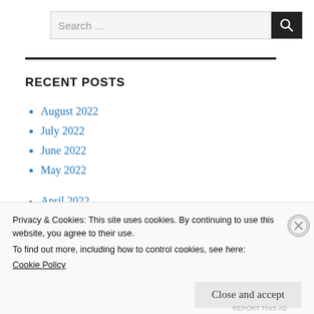[Figure (other): Search bar with text input field showing 'Search ...' placeholder and a black search button with magnifying glass icon]
RECENT POSTS
August 2022
July 2022
June 2022
May 2022
April 2022
Privacy & Cookies: This site uses cookies. By continuing to use this website, you agree to their use.
To find out more, including how to control cookies, see here:
Cookie Policy
REPORT THIS AD